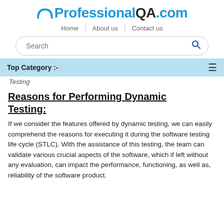[Figure (logo): ProfessionalQA.com logo with arc icon above, bold text in dark and blue colors]
Home | About us | Contact us
[Figure (screenshot): Search bar with rounded rectangle border and blue magnifying glass icon]
Top Category :-
Testing
Reasons for Performing Dynamic Testing:
If we consider the features offered by dynamic testing, we can easily comprehend the reasons for executing it during the software testing life cycle (STLC). With the assistance of this testing, the team can validate various crucial aspects of the software, which if left without any evaluation, can impact the performance, functioning, as well as, reliability of the software product.